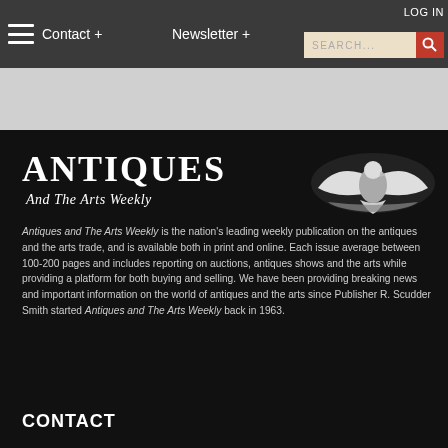Contact + | Newsletter + | LOG IN | SEARCH...
[Figure (logo): Antiques and The Arts Weekly logo with eagle emblem — white text on black background]
Antiques and The Arts Weekly is the nation's leading weekly publication on the antiques and the arts trade, and is available both in print and online. Each issue average between 100-200 pages and includes reporting on auctions, antiques shows and the arts while providing a platform for both buying and selling. We have been providing breaking news and important information on the world of antiques and the arts since Publisher R. Scudder Smith started Antiques and The Arts Weekly back in 1963.
CONTACT